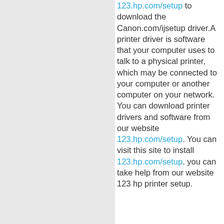123.hp.com/setup to download the Canon.com/ijsetup driver.A printer driver is software that your computer uses to talk to a physical printer, which may be connected to your computer or another computer on your network. You can download printer drivers and software from our website 123.hp.com/setup . You can visit this site to install 123.hp.com/setup . you can take help from our website 123 hp printer setup.